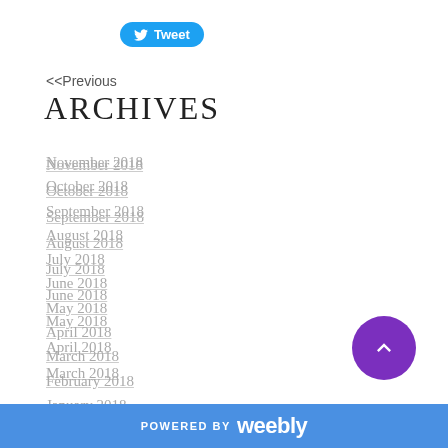[Figure (other): Twitter Tweet button with bird icon]
<<Previous
ARCHIVES
November 2018
October 2018
September 2018
August 2018
July 2018
June 2018
May 2018
April 2018
March 2018
February 2018
January 2018
December 2017
[Figure (other): Purple circular scroll-to-top button with upward chevron]
POWERED BY weebly